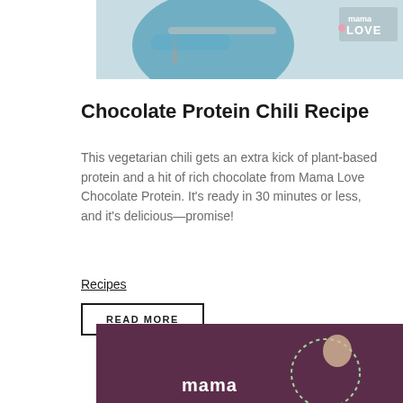[Figure (photo): Top portion of a food photo showing a teal/blue plate with a spoon on a white surface, with a Mama LOVE logo in the upper right corner]
Chocolate Protein Chili Recipe
This vegetarian chili gets an extra kick of plant-based protein and a hit of rich chocolate from Mama Love Chocolate Protein. It's ready in 30 minutes or less, and it's delicious—promise!
Recipes
READ MORE
[Figure (photo): Bottom portion of a photo showing a purple/maroon background with Mama Love logo text and a person partially visible on the right side with a dotted circle design]